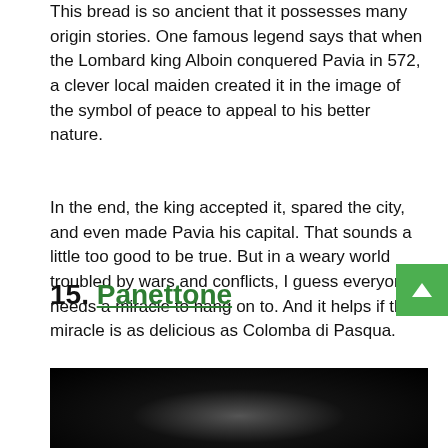This bread is so ancient that it possesses many origin stories. One famous legend says that when the Lombard king Alboin conquered Pavia in 572, a clever local maiden created it in the image of the symbol of peace to appeal to his better nature.
In the end, the king accepted it, spared the city, and even made Pavia his capital. That sounds a little too good to be true. But in a weary world troubled by wars and conflicts, I guess everyone needs a miracle to hang on to. And it helps if that miracle is as delicious as Colomba di Pasqua.
15. Panettone
[Figure (photo): Dark photograph of Panettone bread, mostly black with slight grey gradient in center]